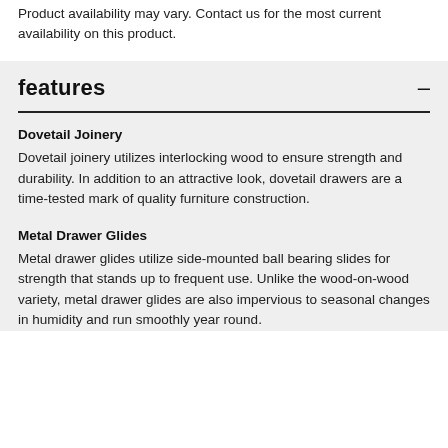Product availability may vary. Contact us for the most current availability on this product.
features
Dovetail Joinery
Dovetail joinery utilizes interlocking wood to ensure strength and durability. In addition to an attractive look, dovetail drawers are a time-tested mark of quality furniture construction.
Metal Drawer Glides
Metal drawer glides utilize side-mounted ball bearing slides for strength that stands up to frequent use. Unlike the wood-on-wood variety, metal drawer glides are also impervious to seasonal changes in humidity and run smoothly year round.